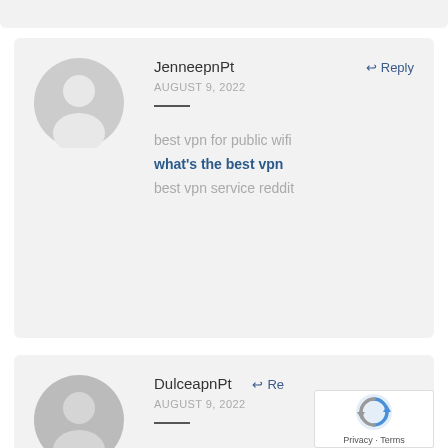[Figure (other): Partial comment card visible at top of page (cropped)]
JenneepnPt
AUGUST 9, 2022
Reply
best vpn for public wifi
what's the best vpn
best vpn service reddit
DulceapnPt
AUGUST 9, 2022
Re...
[Figure (other): reCAPTCHA widget overlay showing spinning arrows logo with Privacy and Terms text]